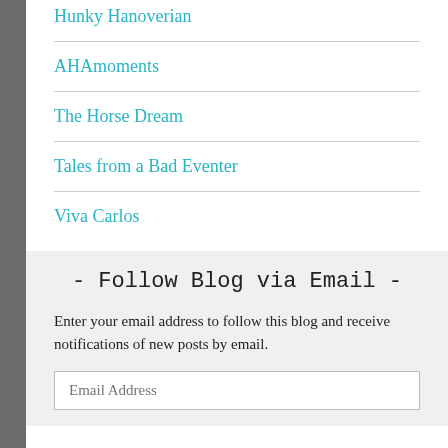Hunky Hanoverian
AHAmoments
The Horse Dream
Tales from a Bad Eventer
Viva Carlos
- Follow Blog via Email -
Enter your email address to follow this blog and receive notifications of new posts by email.
Email Address